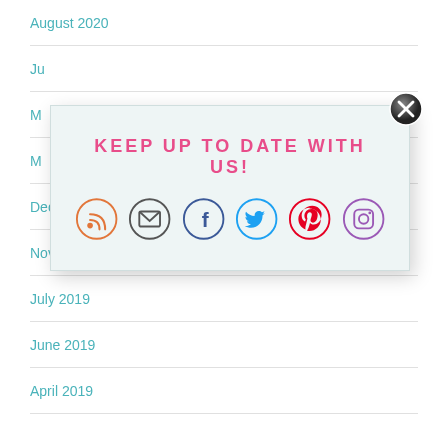August 2020
July ...
M...
M...
[Figure (infographic): Social media follow popup with text KEEP UP TO DATE WITH US! and icons for RSS, Email, Facebook, Twitter, Pinterest, Instagram, plus a close button]
December 2019
November 2019
July 2019
June 2019
April 2019